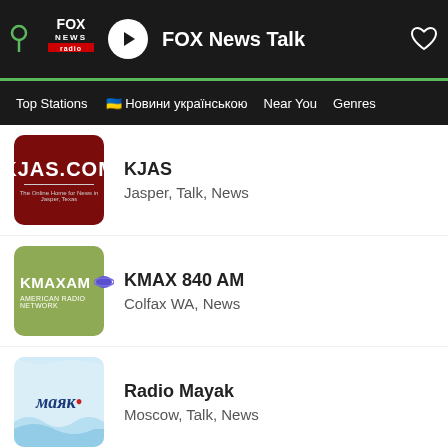[Figure (screenshot): Radio app player bar showing FOX News Radio logo, play button, station name 'FOX News Talk', and a heart/favorite icon on dark background with green underline]
Top Stations  🇺🇦 Новини українською  Near You  Genres
KJAS - Jasper, Talk, News
KMAX 840 AM - Colfax WA, News
Radio Mayak - Moscow, Talk, News
Radio compact international 99.5 - Gonaïves, News